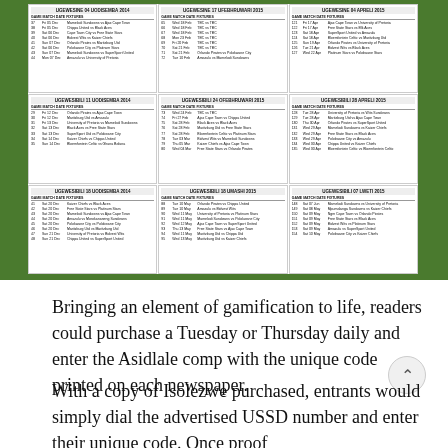[Figure (other): A football fixture schedule document displayed against a green grass background. The document shows multiple match fixtures organized in sections by date (UGEWESINE and UGEWESIBILI) covering November 2014 through June 2015, arranged in a 3-column grid layout with columns for GAME number, MATCH DATE, and FIXTURES (team vs team).]
Bringing an element of gamification to life, readers could purchase a Tuesday or Thursday daily and enter the Asidlale comp with the unique code printed on each newspaper.
With a copy of Isolezwe purchased, entrants would simply dial the advertised USSD number and enter their unique code. Once proof